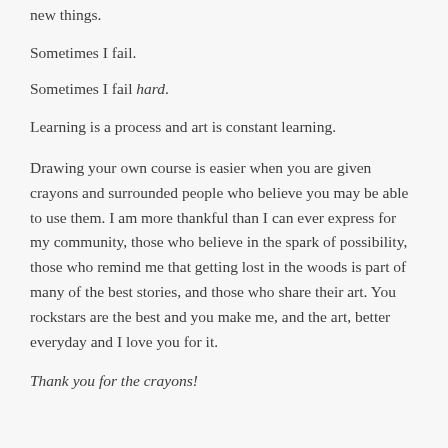new things.
Sometimes I fail.
Sometimes I fail hard.
Learning is a process and art is constant learning.
Drawing your own course is easier when you are given crayons and surrounded people who believe you may be able to use them. I am more thankful than I can ever express for my community, those who believe in the spark of possibility, those who remind me that getting lost in the woods is part of many of the best stories, and those who share their art. You rockstars are the best and you make me, and the art, better everyday and I love you for it.
Thank you for the crayons!